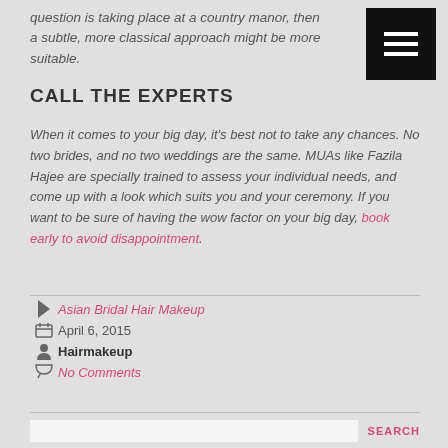question is taking place at a country manor, then a subtle, more classical approach might be more suitable.
CALL THE EXPERTS
When it comes to your big day, it's best not to take any chances. No two brides, and no two weddings are the same. MUAs like Fazila Hajee are specially trained to assess your individual needs, and come up with a look which suits you and your ceremony. If you want to be sure of having the wow factor on your big day, book early to avoid disappointment.
Asian Bridal Hair Makeup
April 6, 2015
Hairmakeup
No Comments